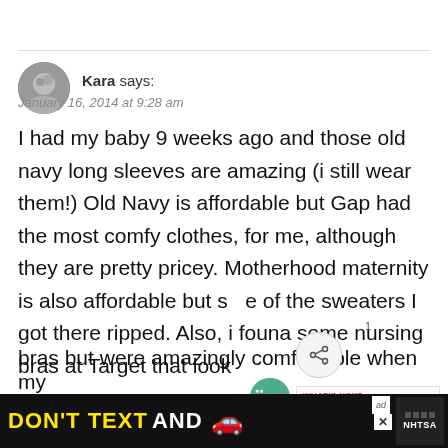[Figure (photo): Small circular avatar photo of user Kara, grayscale]
Kara says:
January 16, 2014 at 9:28 am
I had my baby 9 weeks ago and those old navy long sleeves are amazing (i still wear them!) Old Navy is affordable but Gap had the most comfy clothes, for me, although they are pretty pricey. Motherhood maternity is also affordable but some of the sweaters I got there ripped. Also, i found some nursing bras at Target that look like regular bras but were amazingly comfortable when my reg...
[Figure (screenshot): DON'T TEXT AND DRIVE ad banner at bottom of page with NHTSA logo]
[Figure (infographic): WHAT'S NEXT: At-Home Chipper floating recommendation widget]